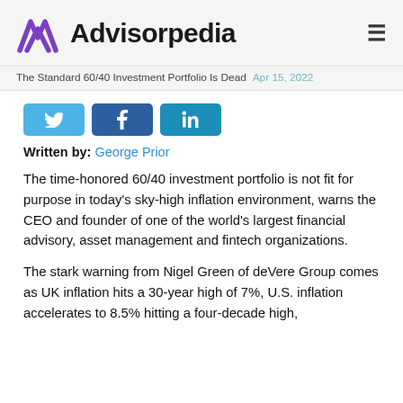Advisorpedia
The Standard 60/40 Investment Portfolio Is Dead  Apr 15, 2022
[Figure (other): Social share buttons for Twitter, Facebook, and LinkedIn]
Written by: George Prior
The time-honored 60/40 investment portfolio is not fit for purpose in today’s sky-high inflation environment, warns the CEO and founder of one of the world’s largest financial advisory, asset management and fintech organizations.
The stark warning from Nigel Green of deVere Group comes as UK inflation hits a 30-year high of 7%, U.S. inflation accelerates to 8.5% hitting a four-decade high,